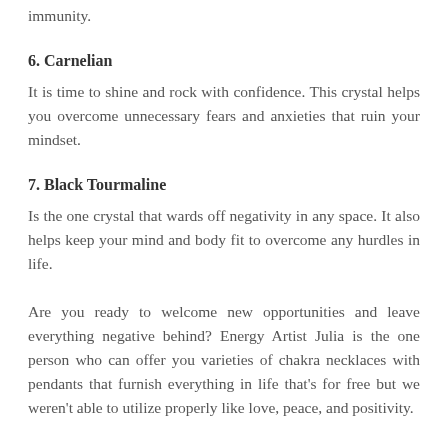immunity.
6. Carnelian
It is time to shine and rock with confidence. This crystal helps you overcome unnecessary fears and anxieties that ruin your mindset.
7. Black Tourmaline
Is the one crystal that wards off negativity in any space. It also helps keep your mind and body fit to overcome any hurdles in life.
Are you ready to welcome new opportunities and leave everything negative behind? Energy Artist Julia is the one person who can offer you varieties of chakra necklaces with pendants that furnish everything in life that's for free but we weren't able to utilize properly like love, peace, and positivity.
For more information about Spiritual Protection Jewelry